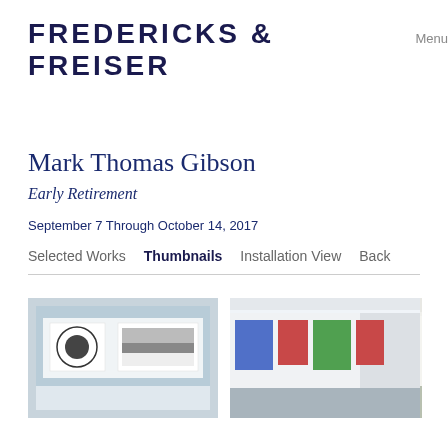FREDERICKS & FREISER Menu
Mark Thomas Gibson
Early Retirement
September 7 Through October 14, 2017
Selected Works   Thumbnails   Installation View   Back
[Figure (photo): Gallery installation view showing two black-and-white artworks on a white wall with light blue background]
[Figure (photo): Gallery installation view showing corner of exhibition space with black-and-white works on left and colorful paintings on right]
[Figure (photo): Gallery installation view showing colorful paintings hung on white walls in a corner]